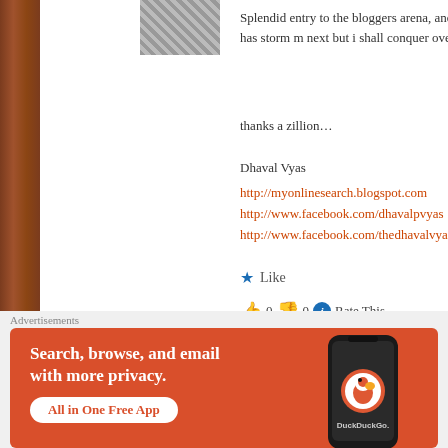[Figure (photo): Small avatar photo of a person in striped clothing, partially visible at top]
Splendid entry to the bloggers arena, and this has storm m next but i shall conquer over it…

thanks a zillion…

Dhaval Vyas
http://myonlinesearch.blogspot.com
http://www.facebook.com/dhavalpvyas
http://www.facebook.com/thedhavalvyas
★ Like
👍 0 👎 0 ℹ Rate This
bimla negi
July 13, 2011 at 7:58 PM
can i say that………..
[Figure (illustration): Cartoon bug/insect avatar with blue body and green wings]
Advertisements
[Figure (screenshot): DuckDuckGo advertisement banner: Search, browse, and email with more privacy. All in One Free App. Shows a phone with the DuckDuckGo app.]